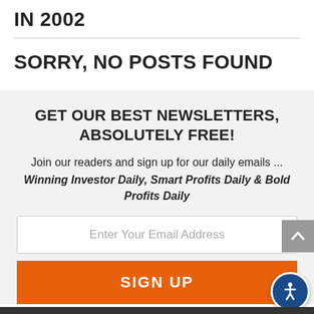IN 2002
SORRY, NO POSTS FOUND
GET OUR BEST NEWSLETTERS, ABSOLUTELY FREE!
Join our readers and sign up for our daily emails ... Winning Investor Daily, Smart Profits Daily & Bold Profits Daily
Enter Your Email Address
SIGN UP